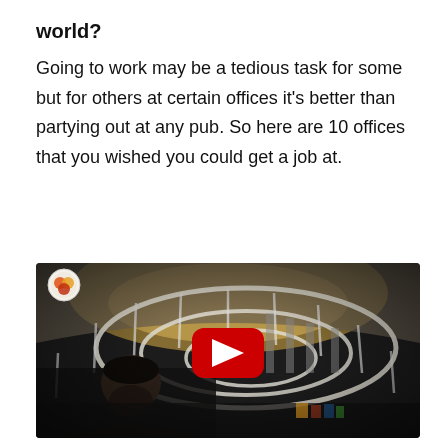world?
Going to work may be a tedious task for some but for others at certain offices it's better than partying out at any pub. So here are 10 offices that you wished you could get a job at.
[Figure (screenshot): YouTube video thumbnail showing a fisheye view of a large open office/warehouse space with spiral railing structure in white, a man looking up in the foreground, and a YouTube play button overlay in the center. A small circular logo is visible in the top-left corner.]